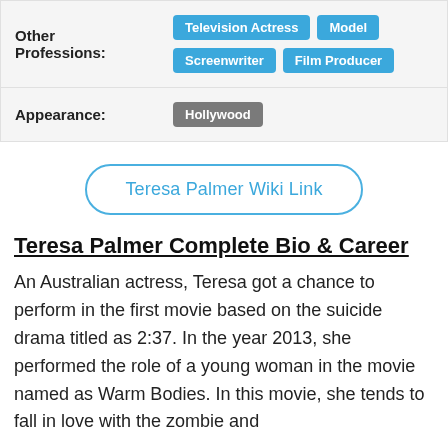| Field | Value |
| --- | --- |
| Other Professions: | Television Actress | Model | Screenwriter | Film Producer |
| Appearance: | Hollywood |
Teresa Palmer Wiki Link
Teresa Palmer Complete Bio & Career
An Australian actress, Teresa got a chance to perform in the first movie based on the suicide drama titled as 2:37. In the year 2013, she performed the role of a young woman in the movie named as Warm Bodies. In this movie, she tends to fall in love with the zombie and